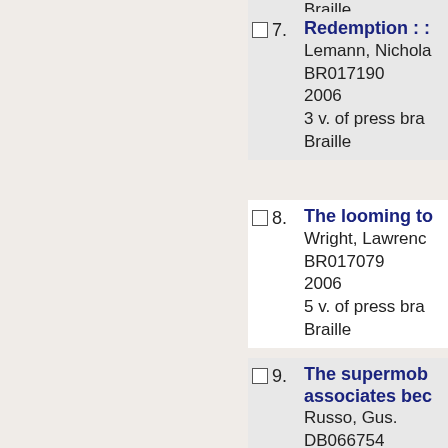7. Redemption : :
Lemann, Nicholas
BR017190
2006
3 v. of press bra
Braille
8. The looming to
Wright, Lawrence
BR017079
2006
5 v. of press bra
Braille
9. The supermob
associates bec
Russo, Gus.
DB066754
2006
1 sound cartridg
Digital Book